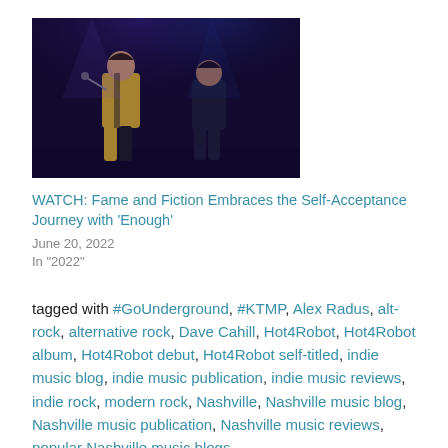[Figure (photo): Concert photo showing two performers on stage under blue/purple stage lighting, one in a yellow outfit holding a microphone]
WATCH: Fame and Fiction Embraces the Self-Acceptance Journey with ‘Enough’
June 20, 2022
In "2022"
tagged with #GoUnderground, #KTMP, Alex Radus, alt-rock, alternative rock, Dave Cahill, Hot4Robot, Hot4Robot album, Hot4Robot debut, Hot4Robot self-titled, indie music blog, indie music publication, indie music reviews, indie rock, modern rock, Nashville, Nashville music blog, Nashville music publication, Nashville music reviews, popular Nashville music blogs,